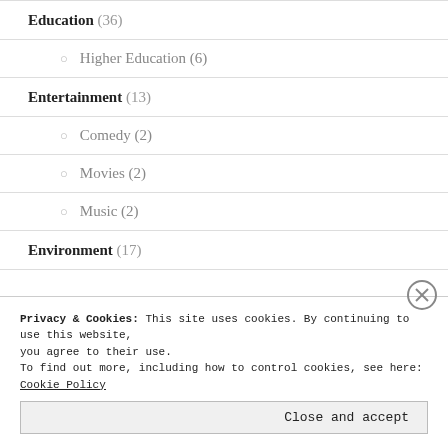Education (36)
Higher Education (6)
Entertainment (13)
Comedy (2)
Movies (2)
Music (2)
Environment (17)
Privacy & Cookies: This site uses cookies. By continuing to use this website, you agree to their use.
To find out more, including how to control cookies, see here: Cookie Policy
Close and accept